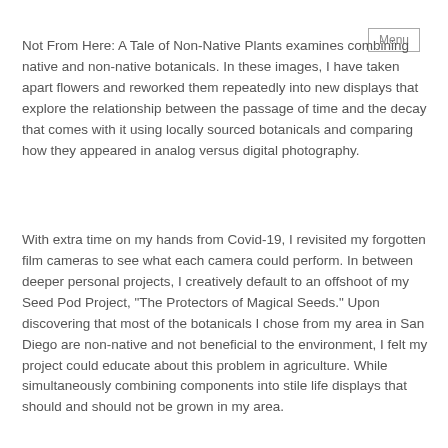Menu
Not From Here: A Tale of Non-Native Plants examines combining native and non-native botanicals. In these images, I have taken apart flowers and reworked them repeatedly into new displays that explore the relationship between the passage of time and the decay that comes with it using locally sourced botanicals and comparing how they appeared in analog versus digital photography.
With extra time on my hands from Covid-19, I revisited my forgotten film cameras to see what each camera could perform. In between deeper personal projects, I creatively default to an offshoot of my Seed Pod Project, "The Protectors of Magical Seeds." Upon discovering that most of the botanicals I chose from my area in San Diego are non-native and not beneficial to the environment, I felt my project could educate about this problem in agriculture. While simultaneously combining components into stile life displays that should and should not be grown in my area.